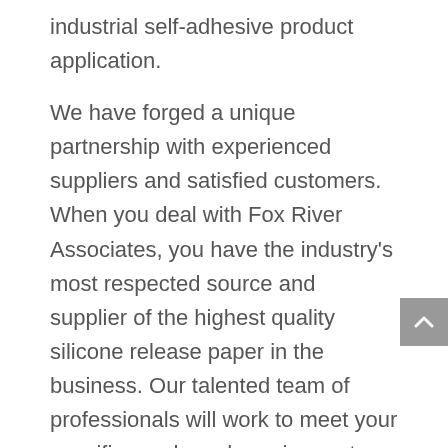industrial self-adhesive product application.
We have forged a unique partnership with experienced suppliers and satisfied customers. When you deal with Fox River Associates, you have the industry's most respected source and supplier of the highest quality silicone release paper in the business. Our talented team of professionals will work to meet your specific needs and requirements, as we work together to get you the right product on time and on budget.
Call (800)647-6579 today for more information about the industry professionals at Fox River Associates can be your trusted source for the silicone release paper you need for your job or